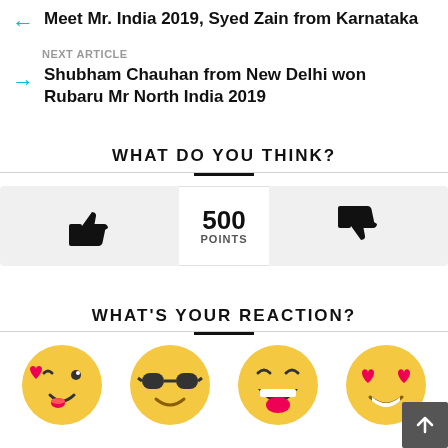← Meet Mr. India 2019, Syed Zain from Karnataka
NEXT ARTICLE
→ Shubham Chauhan from New Delhi won Rubaru Mr North India 2019
WHAT DO YOU THINK?
[Figure (infographic): Thumbs up button on the left, 500 POINTS in the center, thumbs down button on the right]
WHAT'S YOUR REACTION?
[Figure (infographic): Four emoji faces: winking kiss face, sunglasses face, laughing face, heart eyes face]